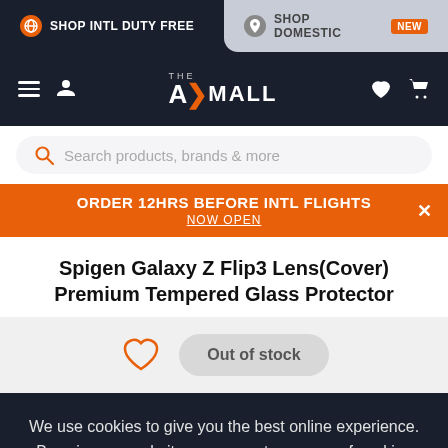SHOP INTL DUTY FREE | SHOP DOMESTIC NEW
[Figure (screenshot): AXTheMall navigation bar with hamburger menu, user icon, logo, heart and cart icons]
Search products, brands & more
ORDER 12HRS BEFORE INTL FLIGHTS
NOW OPEN
Spigen Galaxy Z Flip3 Lens(Cover) Premium Tempered Glass Protector
Out of stock
We use cookies to give you the best online experience. By using our website you agree to our use of cookies in accordance with our privacy policy
Continue